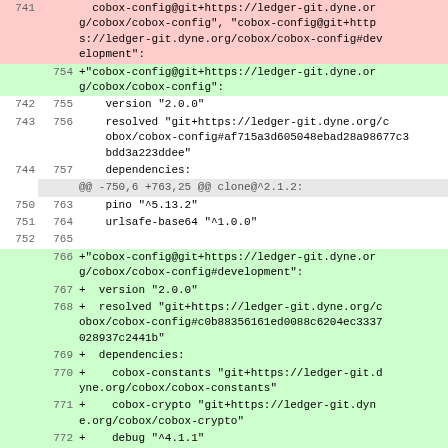| old | new | code |
| --- | --- | --- |
| 741 |  |   cobox-config@git+https://ledger-git.dyne.org/cobox/cobox-config", "cobox-config@git+https://ledger-git.dyne.org/cobox/cobox-config#development": |
|  | 754 | +"cobox-config@git+https://ledger-git.dyne.org/cobox/cobox-config": |
| 742 | 755 |     version "2.0.0" |
| 743 | 756 |     resolved "git+https://ledger-git.dyne.org/cobox/cobox-config#af715a3d605048ebad28a98677c3bdd3a223ddee" |
| 744 | 757 |     dependencies: |
|  |  | @@ -750,6 +763,25 @@ clone@^2.1.2: |
| 750 | 763 |     pino "^5.13.2" |
| 751 | 764 |     urlsafe-base64 "^1.0.0" |
| 752 | 765 |  |
|  | 766 | +"cobox-config@git+https://ledger-git.dyne.org/cobox/cobox-config#development": |
|  | 767 | +  version "2.0.0" |
|  | 768 | +  resolved "git+https://ledger-git.dyne.org/cobox/cobox-config#c0b88356161ed0088c6204ec3337028937c2441b" |
|  | 769 | +  dependencies: |
|  | 770 | +    cobox-constants "git+https://ledger-git.dyne.org/cobox/cobox-constants" |
|  | 771 | +    cobox-crypto "git+https://ledger-git.dyne.org/cobox/cobox-crypto" |
|  | 772 | +    debug "^4.1.1" |
|  | 773 | +    js-yaml "^3.13.1" |